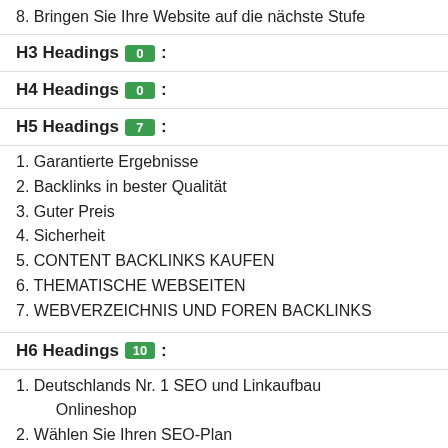8. Bringen Sie Ihre Website auf die nächste Stufe
H3 Headings 0 :
H4 Headings 0 :
H5 Headings 7 :
1. Garantierte Ergebnisse
2. Backlinks in bester Qualität
3. Guter Preis
4. Sicherheit
5. CONTENT BACKLINKS KAUFEN
6. THEMATISCHE WEBSEITEN
7. WEBVERZEICHNIS UND FOREN BACKLINKS
H6 Headings 10 :
1. Deutschlands Nr. 1 SEO und Linkaufbau Onlineshop
2. Wählen Sie Ihren SEO-Plan
3. AKTIVE KUNDEN
4. HINZUGEFÜGTE BACKLINKS